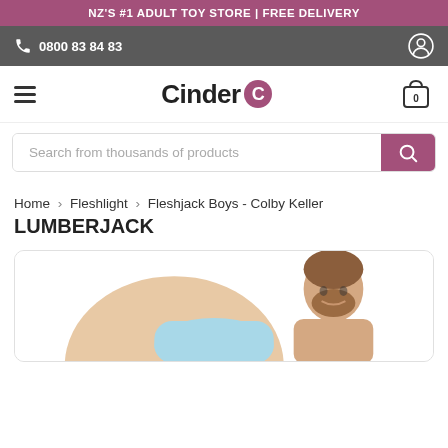NZ'S #1 ADULT TOY STORE | FREE DELIVERY
0800 83 84 83
Cinder
Search from thousands of products
Home > Fleshlight > Fleshjack Boys - Colby Keller LUMBERJACK
[Figure (photo): Product photo showing a Fleshjack Boys Colby Keller LUMBERJACK adult toy with a male model in the background]